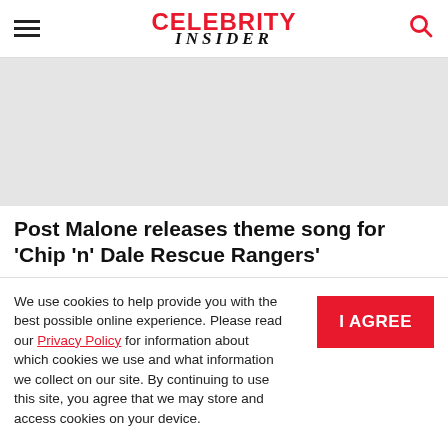CELEBRITY INSIDER
[Figure (photo): Gray placeholder image area for an article photo]
Post Malone releases theme song for 'Chip 'n' Dale Rescue Rangers'
We use cookies to help provide you with the best possible online experience. Please read our Privacy Policy for information about which cookies we use and what information we collect on our site. By continuing to use this site, you agree that we may store and access cookies on your device.